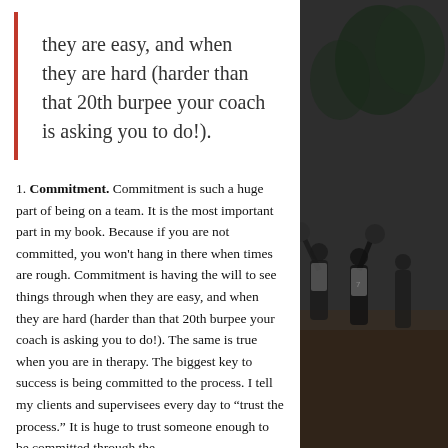they are easy, and when they are hard (harder than that 20th burpee your coach is asking you to do!).
1. Commitment. Commitment is such a huge part of being on a team. It is the most important part in my book. Because if you are not committed, you won't hang in there when times are rough. Commitment is having the will to see things through when they are easy, and when they are hard (harder than that 20th burpee your coach is asking you to do!). The same is true when you are in therapy. The biggest key to success is being committed to the process. I tell my clients and supervisees every day to “trust the process.” It is huge to trust someone enough to be committed through the
[Figure (photo): Dark-toned photograph of soccer players on a field, partially visible on the right side of the page.]